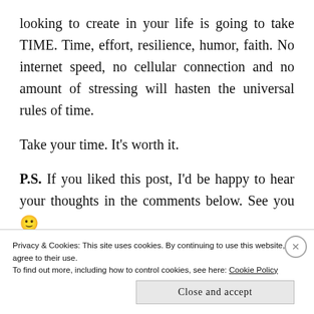looking to create in your life is going to take TIME. Time, effort, resilience, humor, faith. No internet speed, no cellular connection and no amount of stressing will hasten the universal rules of time.
Take your time. It's worth it.
P.S. If you liked this post, I'd be happy to hear your thoughts in the comments below. See you 🙂
Privacy & Cookies: This site uses cookies. By continuing to use this website, you agree to their use.
To find out more, including how to control cookies, see here: Cookie Policy
Close and accept